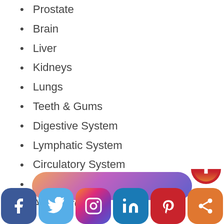Prostate
Brain
Liver
Kidneys
Lungs
Teeth & Gums
Digestive System
Lymphatic System
Circulatory System
Hormones
And more!
Once we know the root cause then we can provide the best natural solutions.
[Figure (infographic): Social media sharing bar with Facebook, Twitter, Instagram, LinkedIn, Pinterest, and share icons, plus a scroll-to-top button]